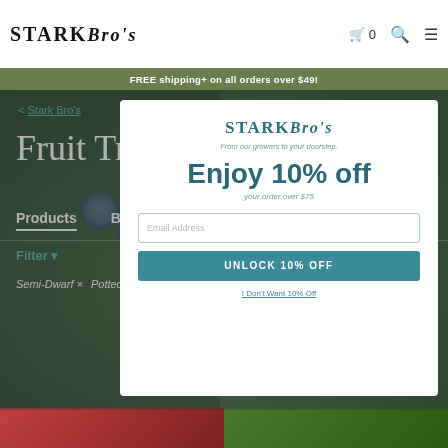Stark Bro's
FREE shipping+ on all orders over $49!
< Stark Bro's
Fruit Trees
Products   Buyer's Guide
Filter  1 - 20 of 32 Items  Sort
Semi-Dwarf ×   Potted ×   Jon  »
Clear All
[Figure (screenshot): Stark Bro's popup modal offering 10% off orders over $75, with email input field and UNLOCK 10% OFF button, and I Don't Want 10% Off decline link]
[Figure (photo): Two product images at bottom of page: left shows red apple on plaid fabric, right shows green plant/tree foliage]